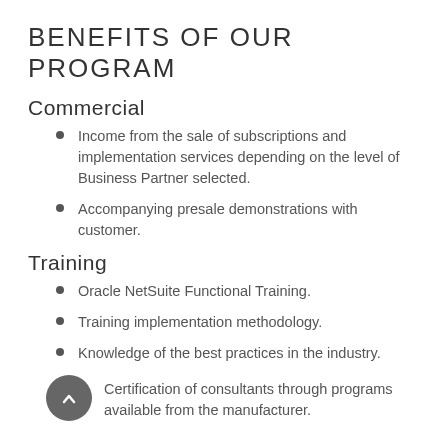BENEFITS OF OUR PROGRAM
Commercial
Income from the sale of subscriptions and implementation services depending on the level of Business Partner selected.
Accompanying presale demonstrations with customer.
Training
Oracle NetSuite Functional Training.
Training implementation methodology.
Knowledge of the best practices in the industry.
Certification of consultants through programs available from the manufacturer.